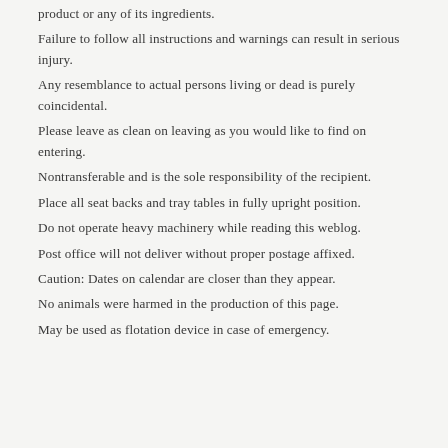product or any of its ingredients.
Failure to follow all instructions and warnings can result in serious injury.
Any resemblance to actual persons living or dead is purely coincidental.
Please leave as clean on leaving as you would like to find on entering.
Nontransferable and is the sole responsibility of the recipient.
Place all seat backs and tray tables in fully upright position.
Do not operate heavy machinery while reading this weblog.
Post office will not deliver without proper postage affixed.
Caution: Dates on calendar are closer than they appear.
No animals were harmed in the production of this page.
May be used as flotation device in case of emergency.